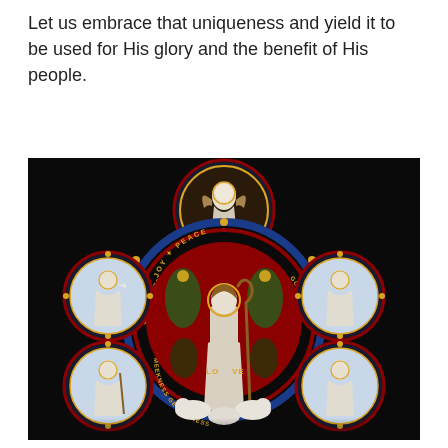Let us embrace that uniqueness and yield it to be used for His glory and the benefit of His people.
[Figure (photo): A stained glass window depicting the Good Shepherd (Jesus) as a central figure with a shepherd's crook, surrounded by sheep. Around the central circular medallion are four smaller circular medallions each containing a saint figure. Words including JOY, PEACE, LOVE, GENTLENESS, GOODNESS, MEEKNESS, PATIENCE are inscribed in the decorative borders. An angel figure appears at the top. The window is richly colored in red, blue, gold, and white.]